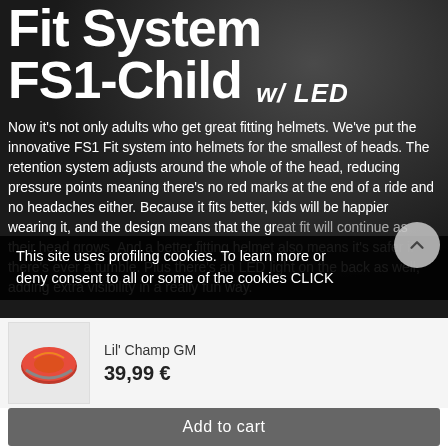Fit System FS1-Child w/ LED
Now it's not only adults who get great fitting helmets. We've put the innovative FS1 Fit system into helmets for the smallest of heads. The retention system adjusts around the whole of the head, reducing pressure points meaning there's no red marks at the end of a ride and no headaches either. Because it fits better, kids will be happier wearing it, and the design means that the great fit will continue as their head grows. And a better fitting helmet also means it's safer if there's ever a tumble. Plus there's an LED light on the back as well, adding extra visibility in a really fun way.
This site uses profiling cookies. To learn more or deny consent to all or some of the cookies CLICK
[Figure (photo): Product image of Lil' Champ GM helmet, orange/red colored child bicycle helmet]
Lil' Champ GM
39,99 €
Add to cart